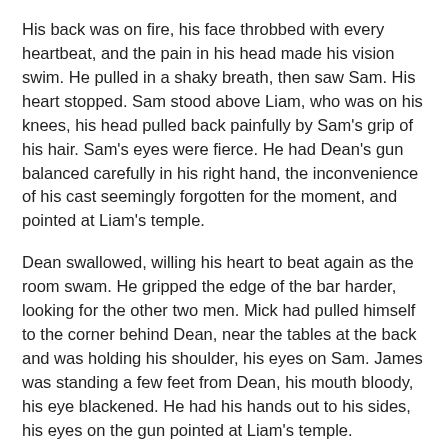His back was on fire, his face throbbed with every heartbeat, and the pain in his head made his vision swim. He pulled in a shaky breath, then saw Sam. His heart stopped. Sam stood above Liam, who was on his knees, his head pulled back painfully by Sam's grip of his hair. Sam's eyes were fierce. He had Dean's gun balanced carefully in his right hand, the inconvenience of his cast seemingly forgotten for the moment, and pointed at Liam's temple.
Dean swallowed, willing his heart to beat again as the room swam. He gripped the edge of the bar harder, looking for the other two men. Mick had pulled himself to the corner behind Dean, near the tables at the back and was holding his shoulder, his eyes on Sam. James was standing a few feet from Dean, his mouth bloody, his eye blackened. He had his hands out to his sides, his eyes on the gun pointed at Liam's temple.
Dean looked back at Sam. There was a rising bruise under his right eye, and what looked like a shallow cut on his shoulder. Dean blinked as he realized he'd just gotten his ass handed to him by an Irish gangster, and there stood Sam, looming over the threat like a reckoning.